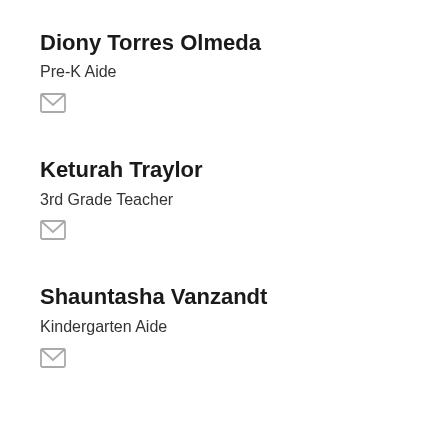Diony Torres Olmeda
Pre-K Aide
[Figure (illustration): Email envelope icon (gray)]
Keturah Traylor
3rd Grade Teacher
[Figure (illustration): Email envelope icon (gray)]
Shauntasha Vanzandt
Kindergarten Aide
[Figure (illustration): Email envelope icon (gray)]